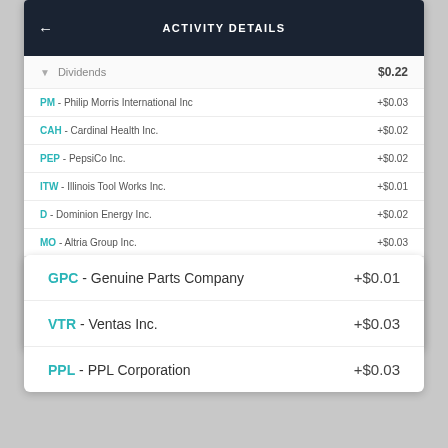ACTIVITY DETAILS
Dividends  $0.22
PM - Philip Morris International Inc  +$0.03
CAH - Cardinal Health Inc.  +$0.02
PEP - PepsiCo Inc.  +$0.02
ITW - Illinois Tool Works Inc.  +$0.01
D - Dominion Energy Inc.  +$0.02
MO - Altria Group Inc.  +$0.03
O - Realty Income Corporation  +$0.01
MDT - Medtronic plc  +$0.01
GPC - Genuine Parts Company  +$0.01
VTR - Ventas Inc.  +$0.03
PPL - PPL Corporation  +$0.03